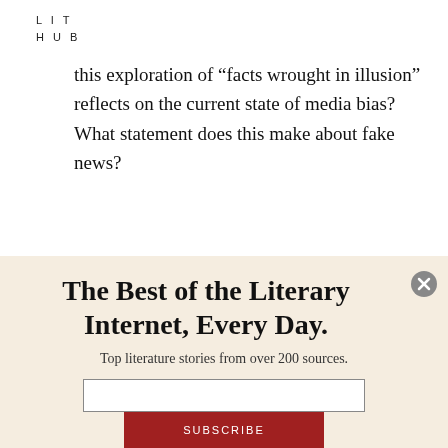LIT
HUB
this exploration of “facts wrought in illusion” reflects on the current state of media bias? What statement does this make about fake news?
The Best of the Literary Internet, Every Day.
Top literature stories from over 200 sources.